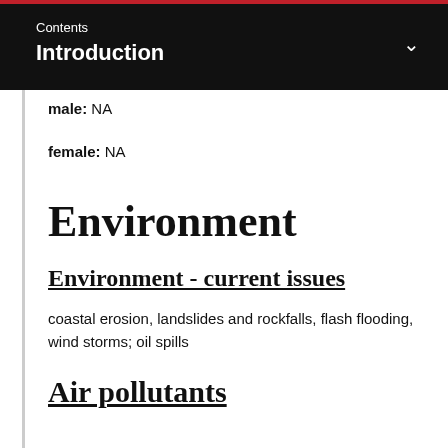Contents
Introduction
male: NA
female: NA
Environment
Environment - current issues
coastal erosion, landslides and rockfalls, flash flooding, wind storms; oil spills
Air pollutants